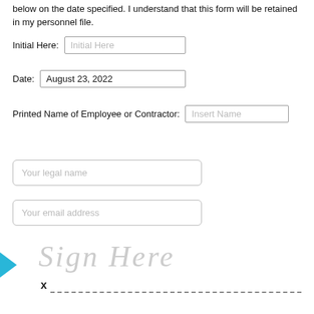below on the date specified. I understand that this form will be retained in my personnel file.
Initial Here: [Initial Here]
Date: August 23, 2022
Printed Name of Employee or Contractor: [Insert Name]
Your legal name
Your email address
[Figure (other): Signature field with blue arrow pointer, 'Sign Here' watermark text in italic gray, an X marker and a dashed signature line.]